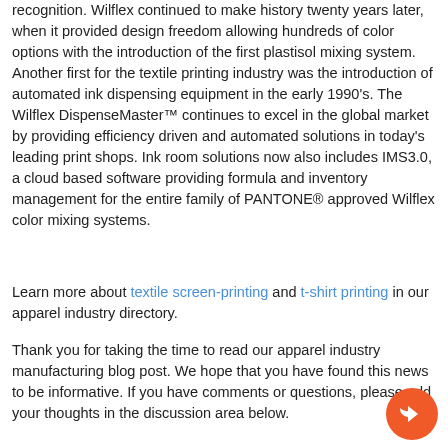recognition. Wilflex continued to make history twenty years later, when it provided design freedom allowing hundreds of color options with the introduction of the first plastisol mixing system. Another first for the textile printing industry was the introduction of automated ink dispensing equipment in the early 1990's. The Wilflex DispenseMaster™ continues to excel in the global market by providing efficiency driven and automated solutions in today's leading print shops. Ink room solutions now also includes IMS3.0, a cloud based software providing formula and inventory management for the entire family of PANTONE® approved Wilflex color mixing systems.
Learn more about textile screen-printing and t-shirt printing in our apparel industry directory.
Thank you for taking the time to read our apparel industry manufacturing blog post. We hope that you have found this news to be informative. If you have comments or questions, please add your thoughts in the discussion area below.